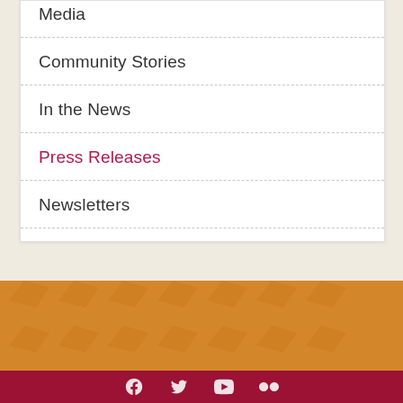Media
Community Stories
In the News
Press Releases
Newsletters
[Figure (other): Orange/gold decorative geometric patterned background section]
Social media icons: Facebook, Twitter, YouTube, Flickr